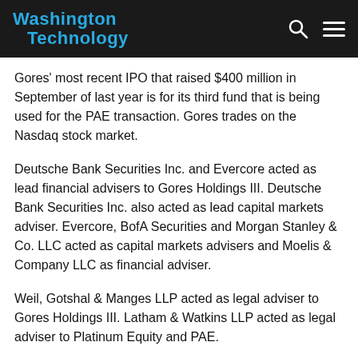Washington Technology
Gores' most recent IPO that raised $400 million in September of last year is for its third fund that is being used for the PAE transaction. Gores trades on the Nasdaq stock market.
Deutsche Bank Securities Inc. and Evercore acted as lead financial advisers to Gores Holdings III. Deutsche Bank Securities Inc. also acted as lead capital markets adviser. Evercore, BofA Securities and Morgan Stanley & Co. LLC acted as capital markets advisers and Moelis & Company LLC as financial adviser.
Weil, Gotshal & Manges LLP acted as legal adviser to Gores Holdings III. Latham & Watkins LLP acted as legal adviser to Platinum Equity and PAE.
The deal between PAE and Gores Holdings is a bit of a family affair. PAE's current owner, Platinum Equity is headed by Tom